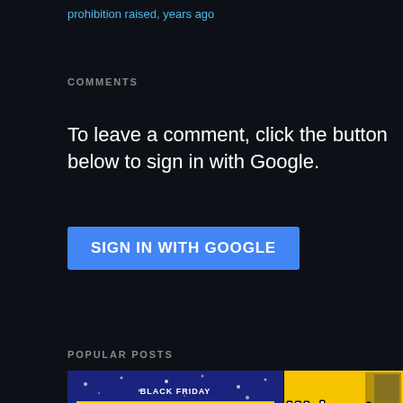prohibition raised, years ago
COMMENTS
To leave a comment, click the button below to sign in with Google.
SIGN IN WITH GOOGLE
POPULAR POSTS
[Figure (photo): Black Friday Deals for Days 2021 promotional image with dark blue background and yellow text]
[Figure (photo): Walmart Final Black Friday AD! promotional image with yellow background showing large bold white text with black outline. Prices $499, $499, $29 visible at bottom.]